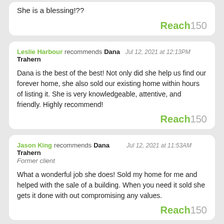She is a blessing!??
Reach150
Leslie Harbour recommends Dana Trahern  Jul 12, 2021 at 12:13PM
Dana is the best of the best! Not only did she help us find our forever home, she also sold our existing home within hours of listing it. She is very knowledgeable, attentive, and friendly. Highly recommend!
Reach150
Jason King recommends Dana Trahern  Jul 12, 2021 at 11:53AM
Former client
What a wonderful job she does! Sold my home for me and helped with the sale of a building. When you need it sold she gets it done with out compromising any values.
Reach150